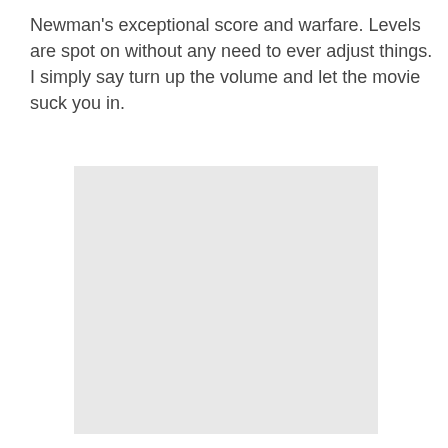Newman's exceptional score and warfare. Levels are spot on without any need to ever adjust things. I simply say turn up the volume and let the movie suck you in.
[Figure (photo): A large light gray rectangular placeholder image or photo area.]